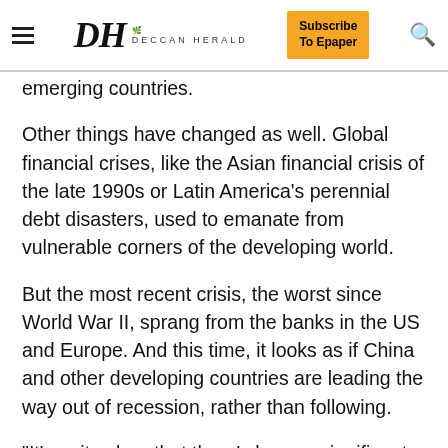DH DECCAN HERALD | Subscribe To Epaper
emerging countries.
Other things have changed as well. Global financial crises, like the Asian financial crisis of the late 1990s or Latin America’s perennial debt disasters, used to emanate from vulnerable corners of the developing world.
But the most recent crisis, the worst since World War II, sprang from the banks in the US and Europe. And this time, it looks as if China and other developing countries are leading the way out of recession, rather than following.
“It’s quite clear that there’s been a significant shift in the global order,” said Robert M Kimmitt, a Davos participant and a former deputy secretary of the US t…